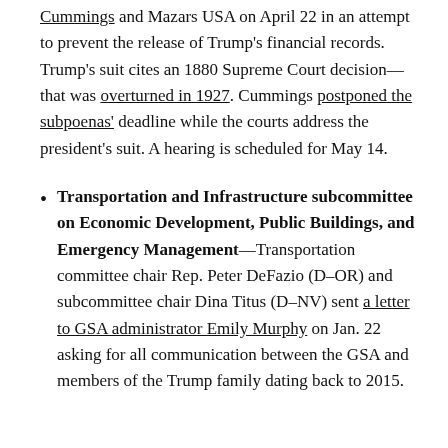Cummings and Mazars USA on April 22 in an attempt to prevent the release of Trump's financial records. Trump's suit cites an 1880 Supreme Court decision—that was overturned in 1927. Cummings postponed the subpoenas' deadline while the courts address the president's suit. A hearing is scheduled for May 14.
Transportation and Infrastructure subcommittee on Economic Development, Public Buildings, and Emergency Management—Transportation committee chair Rep. Peter DeFazio (D–OR) and subcommittee chair Dina Titus (D–NV) sent a letter to GSA administrator Emily Murphy on Jan. 22 asking for all communication between the GSA and members of the Trump family dating back to 2015.